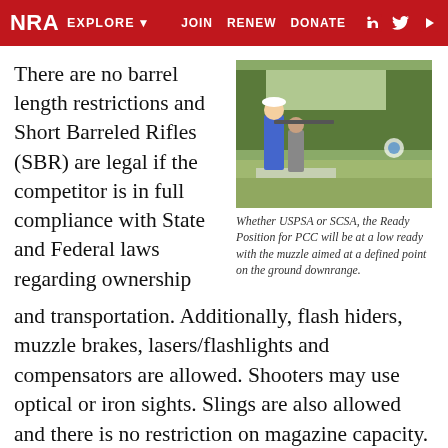NRA EXPLORE ▾   JOIN   RENEW   DONATE   f   𝕏   ▶
There are no barrel length restrictions and Short Barreled Rifles (SBR) are legal if the competitor is in full compliance with State and Federal laws regarding ownership and transportation. Additionally, flash hiders, muzzle brakes, lasers/flashlights and compensators are allowed. Shooters may use optical or iron sights. Slings are also allowed and there is no restriction on magazine capacity. At this time all scoring will be under Minor Caliber (125 PF) rules, although as a Provisional Division the initial rules are subject to
[Figure (photo): Two people at a shooting range, one in a blue shirt aiming a rifle, trees and targets visible in background.]
Whether USPSA or SCSA, the Ready Position for PCC will be at a low ready with the muzzle aimed at a defined point on the ground downrange.